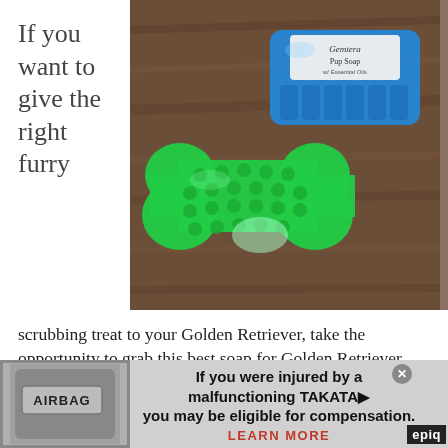If you want to give the right furry
[Figure (photo): Photo of two Gemtera Pup Soap bars on a wooden surface — one bright green dog-bone shaped soap and one blue rectangular soap with label reading 'Gemtera Pup Soap']
scrubbing treat to your Golden Retriever, take the opportunity to grab this best soap for Golden Retriever. The Gemtera Massaging Dog Soap has within its bottom portion and also contains a distinct shape of a dog-bone making it easy to
[Figure (infographic): Advertisement banner: Image of an airbag on the left. Text reads: 'If you were injured by a malfunctioning TAKATA you may be eligible for compensation. LEARN MORE'. Logo 'epiq' at bottom right.]